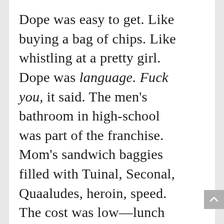Dope was easy to get. Like buying a bag of chips. Like whistling at a pretty girl. Dope was language. Fuck you, it said. The men's bathroom in high-school was part of the franchise. Mom's sandwich baggies filled with Tuinal, Seconal, Quaaludes, heroin, speed. The cost was low—lunch money low. You could get anything you wanted at Tadeusz Kosciuszko Square five minutes from my house. The Square. At the Square, you could buy your way into your own imprisonment